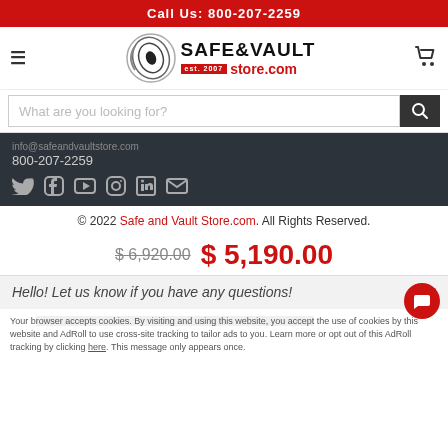Call Us: 800-207-2259
[Figure (logo): Safe & Vault Store.com logo with spiral eye graphic, est. 2007]
What are you looking for?
info@safeandvaultstore.com
800-207-2259
[Figure (other): Social media icons: Twitter, Facebook, YouTube, Instagram, LinkedIn, Email]
© 2022 Safe and Vault Store.com. All Rights Reserved.
$ 6,920.00  $ 5,190.00
Hello! Let us know if you have any questions!
Your browser accepts cookies. By visiting and using this website, you accept the use of cookies by this website and AdRoll to use cross-site tracking to tailor ads to you. Learn more or opt out of this AdRoll tracking by clicking here. This message only appears once.